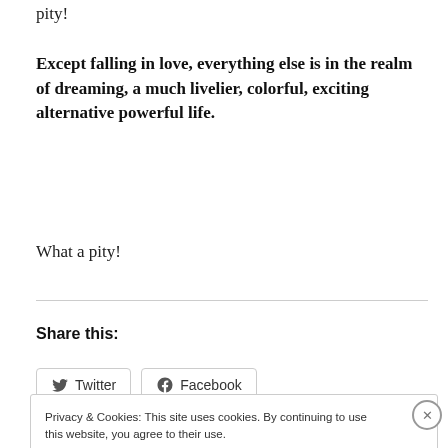pity!
Except falling in love, everything else is in the realm of dreaming, a much livelier, colorful, exciting alternative powerful life.
What a pity!
Share this:
Twitter  Facebook
Privacy & Cookies: This site uses cookies. By continuing to use this website, you agree to their use.
To find out more, including how to control cookies, see here: Cookie Policy
Close and accept